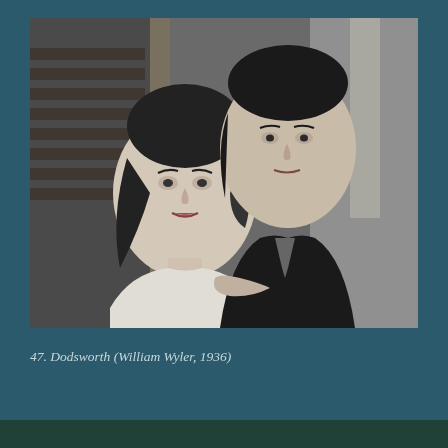[Figure (photo): Black and white film still showing a woman and a man posed closely together. The woman is in the foreground with styled 1930s hair and a light dress; the man stands behind her in a dark suit. Background shows bookshelves and a wall.]
47. Dodsworth (William Wyler, 1936)